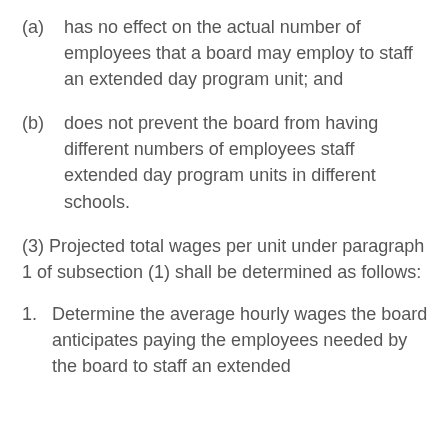(a) has no effect on the actual number of employees that a board may employ to staff an extended day program unit; and
(b) does not prevent the board from having different numbers of employees staff extended day program units in different schools.
(3) Projected total wages per unit under paragraph 1 of subsection (1) shall be determined as follows:
1. Determine the average hourly wages the board anticipates paying the employees needed by the board to staff an extended